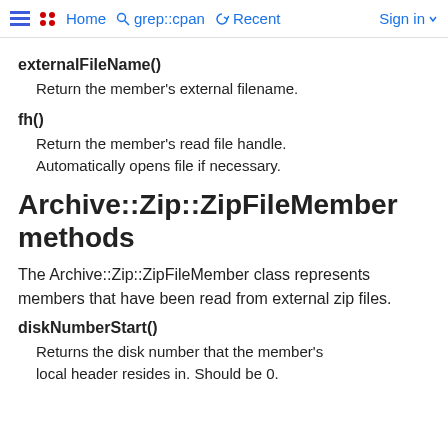Home  grep::cpan  Recent  Sign in
externalFileName()
Return the member's external filename.
fh()
Return the member's read file handle. Automatically opens file if necessary.
Archive::Zip::ZipFileMember methods
The Archive::Zip::ZipFileMember class represents members that have been read from external zip files.
diskNumberStart()
Returns the disk number that the member's local header resides in. Should be 0.